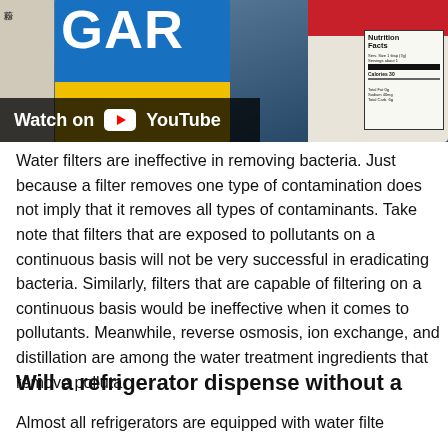[Figure (screenshot): YouTube video thumbnail showing food containers including a blue garlic powder box and a container with a Nutrition Facts label, with a 'Watch on YouTube' overlay bar at the bottom left.]
Water filters are ineffective in removing bacteria. Just because a filter removes one type of contamination does not imply that it removes all types of contaminants. Take note that filters that are exposed to pollutants on a continuous basis will not be very successful in eradicating bacteria. Similarly, filters that are capable of filtering on a continuous basis would be ineffective when it comes to pollutants. Meanwhile, reverse osmosis, ion exchange, and distillation are among the water treatment ingredients that remove polluta...
Will a refrigerator dispense without a...
Almost all refrigerators are equipped with water filte...